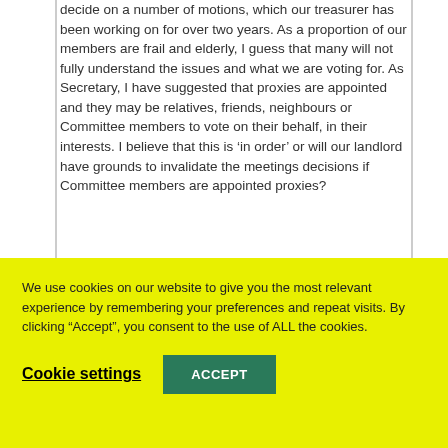decide on a number of motions, which our treasurer has been working on for over two years. As a proportion of our members are frail and elderly, I guess that many will not fully understand the issues and what we are voting for. As Secretary, I have suggested that proxies are appointed and they may be relatives, friends, neighbours or Committee members to vote on their behalf, in their interests. I believe that this is ‘in order’ or will our landlord have grounds to invalidate the meetings decisions if Committee members are appointed proxies?
We use cookies on our website to give you the most relevant experience by remembering your preferences and repeat visits. By clicking “Accept”, you consent to the use of ALL the cookies.
Cookie settings
ACCEPT